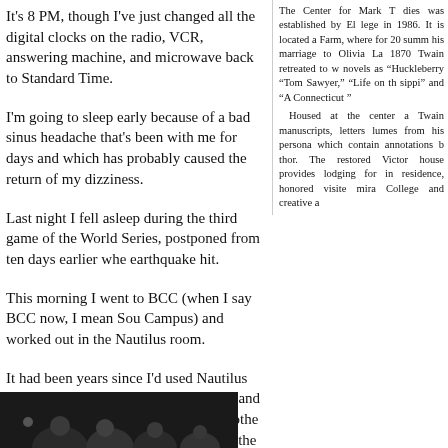It’s 8 PM, though I’ve just changed all the digital clocks on the radio, VCR, answering machine, and microwave back to Standard Time.
The Center for Mark T... dies was established by El... lege in 1986. It is located a... Farm, where for 20 summ... his marriage to Olivia La... 1870 Twain retreated to w... novels as ‘‘Huckleberry... ‘‘Tom Sawyer,’’ ‘‘Life on th... sippi’’ and ‘‘A Connecticut ’... Housed at the center a... Twain manuscripts, letters... lumes from his persona... which contain annotations b... thor. The restored Victor... house provides lodging for... in residence, honored visite... mira College and creative a...
I’m going to sleep early because of a bad sinus headache that’s been with me for days and which has probably caused the return of my dizziness.
Last night I fell asleep during the third game of the World Series, postponed from ten days earlier whe... earthquake hit.
This morning I went to BCC (when I say BCC now, I mean Sou... Campus) and worked out in the Nautilus room.
It had been years since I’d used Nautilus equipment, so I made... use light weight and not over-exert myself. I didn’t do any othe... exercise today because I’m not sure of the effect of the workou...
[Figure (photo): Dark photograph showing silhouettes of people, partially visible at bottom of page.]